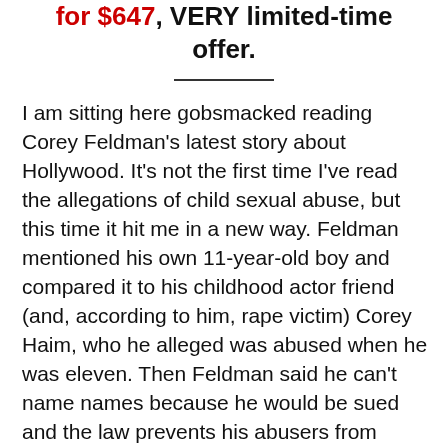for $647, VERY limited-time offer.
I am sitting here gobsmacked reading Corey Feldman's latest story about Hollywood. It's not the first time I've read the allegations of child sexual abuse, but this time it hit me in a new way. Feldman mentioned his own 11-year-old boy and compared it to his childhood actor friend (and, according to him, rape victim) Corey Haim, who he alleged was abused when he was eleven. Then Feldman said he can't name names because he would be sued and the law prevents his abusers from being prosecuted. This is wrong on so many levels.